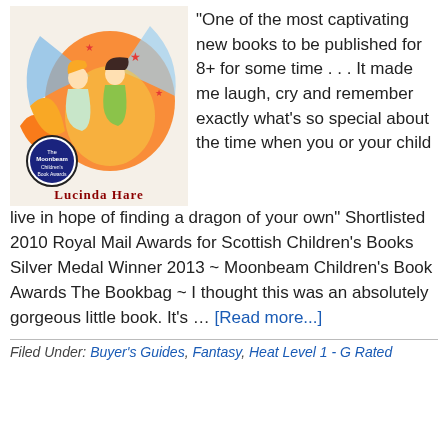[Figure (illustration): Book cover illustration showing two children riding a dragon with fire and stars, with a Moonbeam award medallion in the lower left. Author name 'Lucinda Hare' displayed at bottom of cover.]
"One of the most captivating new books to be published for 8+ for some time . . . It made me laugh, cry and remember exactly what's so special about the time when you or your child live in hope of finding a dragon of your own" Shortlisted 2010 Royal Mail Awards for Scottish Children's Books Silver Medal Winner 2013 ~ Moonbeam Children's Book Awards The Bookbag ~ I thought this was an absolutely gorgeous little book. It's … [Read more...]
Filed Under: Buyer's Guides, Fantasy, Heat Level 1 - G Rated